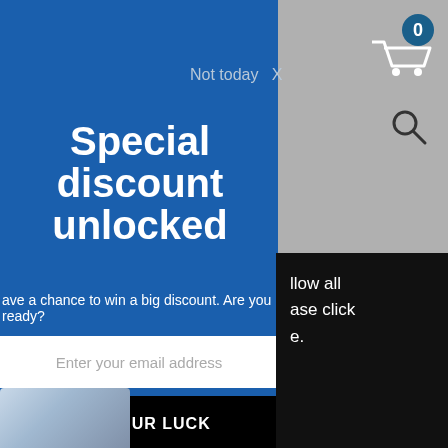[Figure (screenshot): Website navigation bar with shopping cart icon showing 0 items and a search icon, on a gray background]
Not today  X
Special discount unlocked
ave a chance to win a big discount. Are you ready?
Enter your email address
TRY YOUR LUCK
n spin the wheel only once.
vin, you can claim your coupon!
llow all
ase click
e.